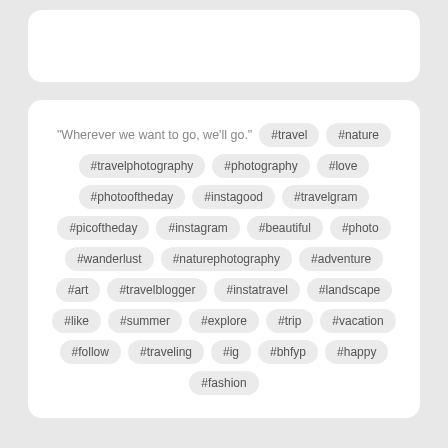[Figure (screenshot): White card at top of screen, partially visible]
“Wherever we want to go, we’ll go.” #travel #nature #travelphotography #photography #love #photooftheday #instagood #travelgram #picoftheday #instagram #beautiful #photo #wanderlust #naturephotography #adventure #art #travelblogger #instatravel #landscape #like #summer #explore #trip #vacation #follow #traveling #ig #bhfyp #happy #fashion